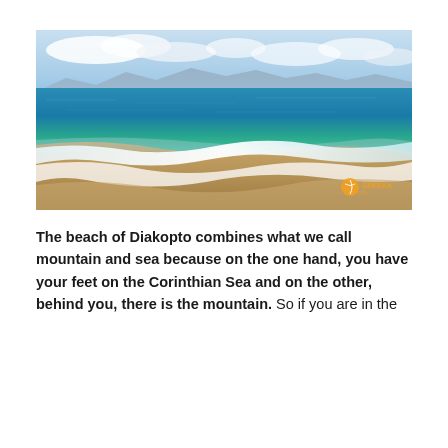[Figure (photo): A beach scene at Diakopto, Greece. Clear turquoise and blue water of the Corinthian Sea meets a sandy/pebbly shore with gentle surf washing up. Mountains are visible in the background under a partly cloudy sky. A 'Greeka.com' watermark logo is visible in the bottom-right corner of the image.]
The beach of Diakopto combines what we call mountain and sea because on the one hand, you have your feet on the Corinthian Sea and on the other, behind you, there is the mountain. So if you are in the